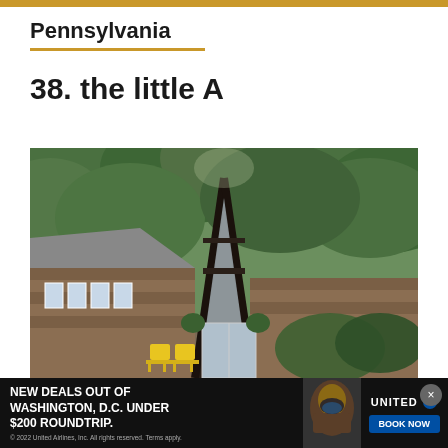Pennsylvania
38. the little A
[Figure (photo): Exterior photograph of an A-frame cabin surrounded by lush green trees. The cabin has dark wood shingle siding, a steep triangular roofline with large glass windows at the peak, a sliding glass door entrance, and two yellow metal chairs on the front patio.]
[Figure (screenshot): Advertisement banner: United Airlines - New Deals Out of Washington D.C. Under $200 Roundtrip. Shows a person in snorkeling gear, United Airlines logo, and a Book Now button. Copyright 2022 United Airlines, Inc. All rights reserved. Terms apply.]